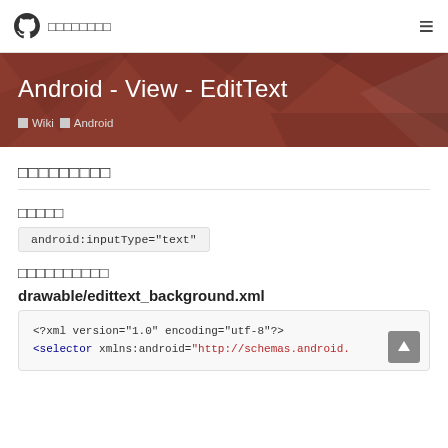□□□□□□□□
Android - View - EditText
■ Wiki  ■ Android
□□□□□□□□□
□□□□□
android:inputType="text"
□□□□□□□□□□
drawable/edittext_background.xml
<?xml version="1.0" encoding="utf-8"?>
<selector xmlns:android="http://schemas.android.